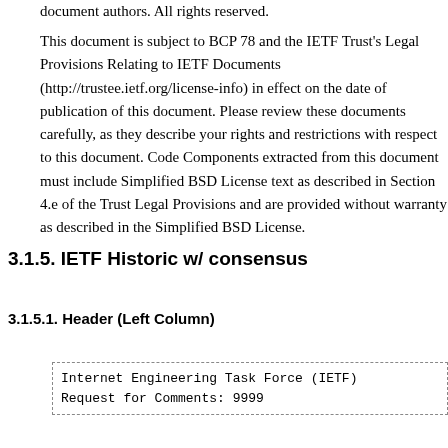document authors. All rights reserved.
This document is subject to BCP 78 and the IETF Trust's Legal Provisions Relating to IETF Documents (http://trustee.ietf.org/license-info) in effect on the date of publication of this document. Please review these documents carefully, as they describe your rights and restrictions with respect to this document. Code Components extracted from this document must include Simplified BSD License text as described in Section 4.e of the Trust Legal Provisions and are provided without warranty as described in the Simplified BSD License.
3.1.5. IETF Historic w/ consensus
3.1.5.1. Header (Left Column)
Internet Engineering Task Force (IETF)
Request for Comments: 9999